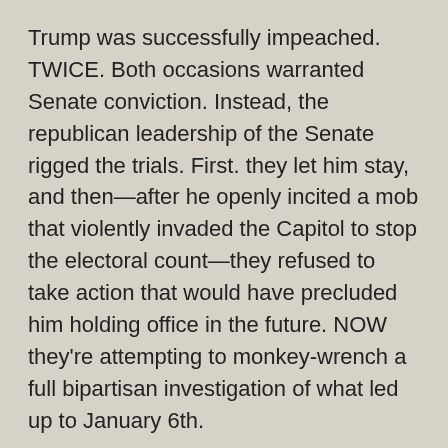Trump was successfully impeached. TWICE. Both occasions warranted Senate conviction. Instead, the republican leadership of the Senate rigged the trials. First. they let him stay, and then—after he openly incited a mob that violently invaded the Capitol to stop the electoral count—they refused to take action that would have precluded him holding office in the future. NOW they're attempting to monkey-wrench a full bipartisan investigation of what led up to January 6th.
Like